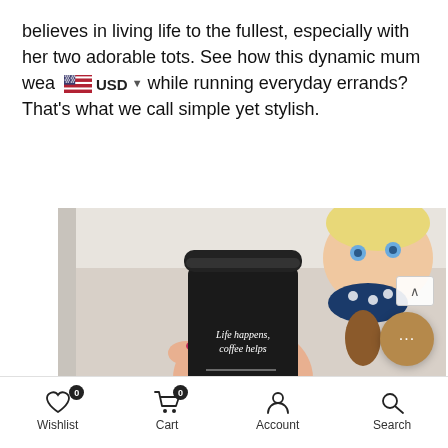believes in living life to the fullest, especially with her two adorable tots. See how this dynamic mum wea [USD flag] USD while running everyday errands? That's what we call simple yet stylish.
[Figure (photo): A person holding a black travel coffee cup with text 'Life happens, coffee helps' and a decorative line, wearing a rose-gold watch. A small child peeks over their shoulder. Shot from above.]
Wishlist (0)   Cart (0)   Account   Search